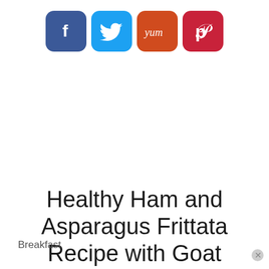[Figure (infographic): Row of four social media share buttons: Facebook (blue, f icon), Twitter (light blue, bird icon), Yummly (orange, 'Yum' text), Pinterest (red, P icon)]
Healthy Ham and Asparagus Frittata Recipe with Goat Cheese
Breakfast